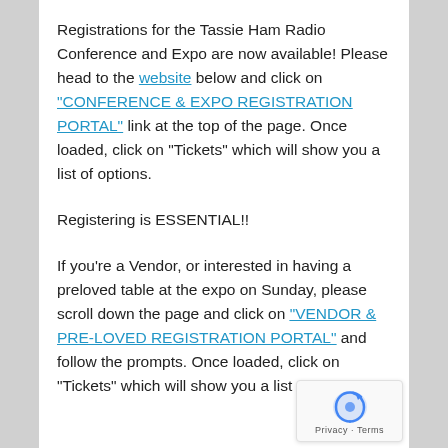Registrations for the Tassie Ham Radio Conference and Expo are now available! Please head to the website below and click on "CONFERENCE & EXPO REGISTRATION PORTAL" link at the top of the page. Once loaded, click on "Tickets" which will show you a list of options.

Registering is ESSENTIAL!!

If you're a Vendor, or interested in having a preloved table at the expo on Sunday, please scroll down the page and click on "VENDOR & PRE-LOVED REGISTRATION PORTAL" and follow the prompts. Once loaded, click on "Tickets" which will show you a list of options.
[Figure (logo): reCAPTCHA privacy badge with arrow-circle icon and Privacy/Terms links]